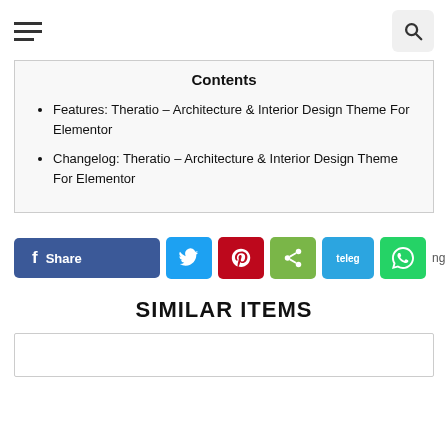Hamburger menu and search icon header
Contents
Features: Theratio – Architecture & Interior Design Theme For Elementor
Changelog: Theratio – Architecture & Interior Design Theme For Elementor
[Figure (other): Social share buttons row: Facebook Share, Twitter, Pinterest, Share (green), Telegram, WhatsApp]
SIMILAR ITEMS
[Figure (other): Empty card placeholder at bottom of page]